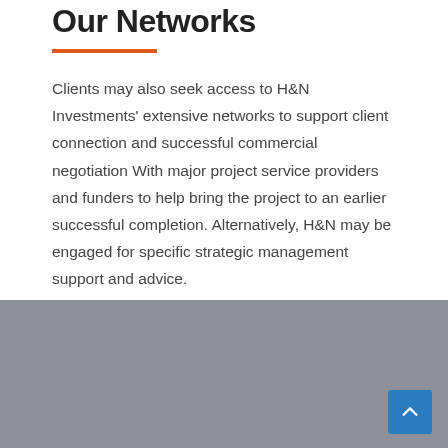Our Networks
Clients may also seek access to H&N Investments' extensive networks to support client connection and successful commercial negotiation With major project service providers and funders to help bring the project to an earlier successful completion. Alternatively, H&N may be engaged for specific strategic management support and advice.